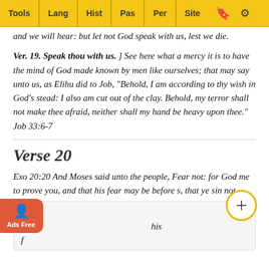Tools | Lang | Hist | Pas | Per | Site
and we will hear: but let not God speak with us, lest we die.
Ver. 19. Speak thou with us. ] See here what a mercy it is to have the mind of God made known by men like ourselves; that may say unto us, as Elihu did to Job, "Behold, I am according to thy wish in God's stead: I also am cut out of the clay. Behold, my terror shall not make thee afraid, neither shall my hand be heavy upon thee." Job 33:6-7
Verse 20
Exo 20:20 And Moses said unto the people, Fear not: for God me to prove you, and that his fear may be before s, that ye sin not.
Ver. 2 appea his f